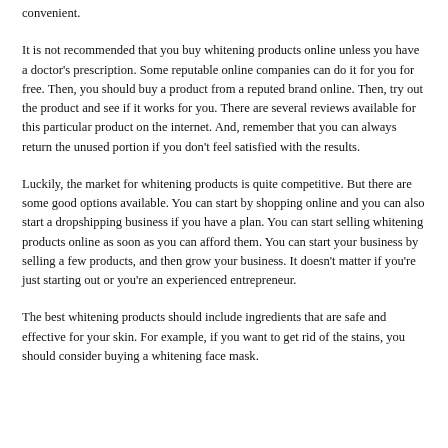convenient.
It is not recommended that you buy whitening products online unless you have a doctor's prescription. Some reputable online companies can do it for you for free. Then, you should buy a product from a reputed brand online. Then, try out the product and see if it works for you. There are several reviews available for this particular product on the internet. And, remember that you can always return the unused portion if you don't feel satisfied with the results.
Luckily, the market for whitening products is quite competitive. But there are some good options available. You can start by shopping online and you can also start a dropshipping business if you have a plan. You can start selling whitening products online as soon as you can afford them. You can start your business by selling a few products, and then grow your business. It doesn't matter if you're just starting out or you're an experienced entrepreneur.
The best whitening products should include ingredients that are safe and effective for your skin. For example, if you want to get rid of the stains, you should consider buying a whitening face mask.